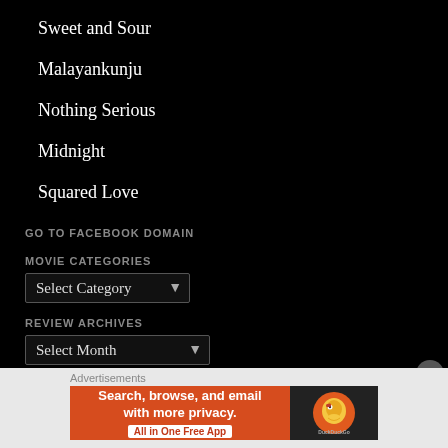Sweet and Sour
Malayankunju
Nothing Serious
Midnight
Squared Love
GO TO FACEBOOK DOMAIN
MOVIE CATEGORIES
Select Category
REVIEW ARCHIVES
Select Month
Advertisements
[Figure (screenshot): DuckDuckGo advertisement banner: orange section with text 'Search, browse, and email with more privacy. All in One Free App' and dark section with DuckDuckGo duck logo]